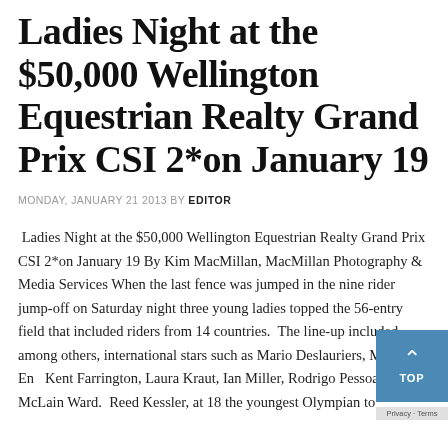Ladies Night at the $50,000 Wellington Equestrian Realty Grand Prix CSI 2*on January 19
MONDAY, JANUARY 21 2013 BY EDITOR
Ladies Night at the $50,000 Wellington Equestrian Realty Grand Prix CSI 2*on January 19 By Kim MacMillan, MacMillan Photography & Media Services When the last fence was jumped in the nine rider jump-off on Saturday night three young ladies topped the 56-entry field that included riders from 14 countries.  The line-up included, among others, international stars such as Mario Deslauriers, Margie En Kent Farrington, Laura Kraut, Ian Miller, Rodrigo Pessoa McLain Ward.  Reed Kessler, at 18 the youngest Olympian to